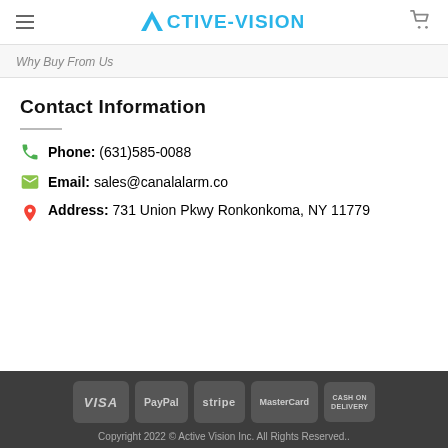Active-Vision
Why Buy From Us
Contact Information
Phone: (631)585-0088
Email: sales@canalalarm.co
Address: 731 Union Pkwy Ronkonkoma, NY 11779
VISA  PayPal  stripe  MasterCard  CASH ON DELIVERY
Copyright 2022 © Active Vision Inc. All Rights Reserved..